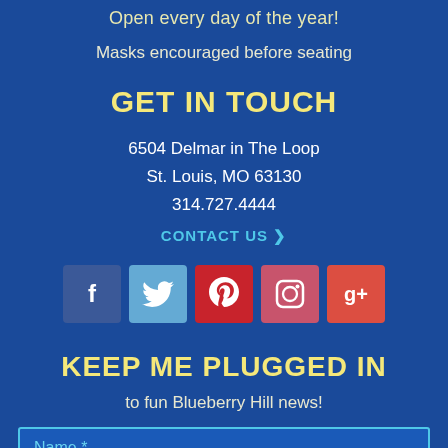Open every day of the year!
Masks encouraged before seating
GET IN TOUCH
6504 Delmar in The Loop
St. Louis, MO 63130
314.727.4444
CONTACT US ❯
[Figure (infographic): Row of 5 social media icons: Facebook (dark blue), Twitter (light blue), Pinterest (red), Instagram (pink-red), Google+ (red-orange)]
KEEP ME PLUGGED IN
to fun Blueberry Hill news!
Name *